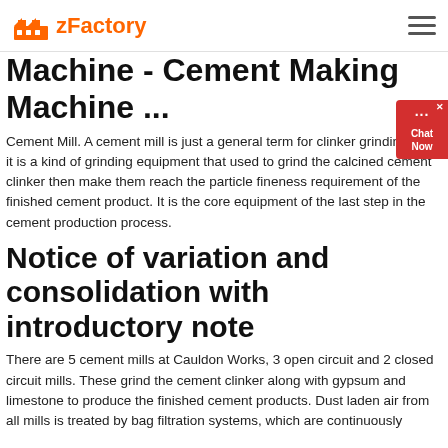zFactory
Cement Manufacturing Machine - Cement Making Machine ...
Cement Mill. A cement mill is just a general term for clinker grinding mill, it is a kind of grinding equipment that used to grind the calcined cement clinker then make them reach the particle fineness requirement of the finished cement product. It is the core equipment of the last step in the cement production process.
Notice of variation and consolidation with introductory note
There are 5 cement mills at Cauldon Works, 3 open circuit and 2 closed circuit mills. These grind the cement clinker along with gypsum and limestone to produce the finished cement products. Dust laden air from all mills is treated by bag filtration systems, which are continuously